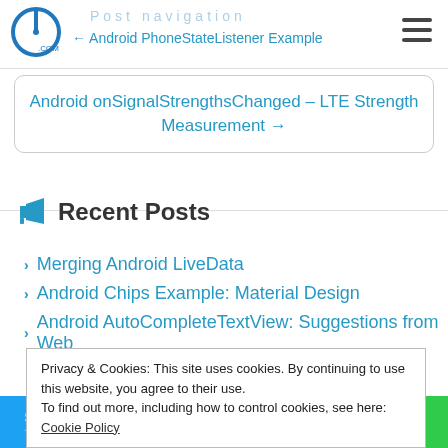Post navigation ← Android PhoneStateListener Example
Android onSignalStrengthsChanged – LTE Strength Measurement →
Recent Posts
Merging Android LiveData
Android Chips Example: Material Design
Android AutoCompleteTextView: Suggestions from Web
Privacy & Cookies: This site uses cookies. By continuing to use this website, you agree to their use. To find out more, including how to control cookies, see here: Cookie Policy